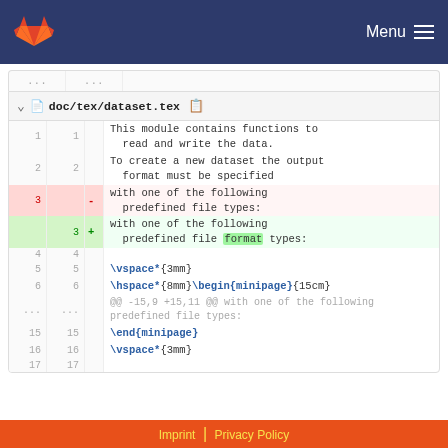[Figure (screenshot): GitLab navigation bar with orange fox logo on left and Menu with hamburger icon on right, dark navy background]
... ...
doc/tex/dataset.tex
| old | new | +/- | content |
| --- | --- | --- | --- |
| 1 | 1 |  | This module contains functions to read and write the data. |
| 2 | 2 |  | To create a new dataset the output format must be specified |
| 3 |  | - | with one of the following predefined file types: |
|  | 3 | + | with one of the following predefined file format types: |
| 4 | 4 |  |  |
| 5 | 5 |  | \vspace*{3mm} |
| 6 | 6 |  | \hspace*{8mm}\begin{minipage}{15cm} |
| ... | ... |  | @@ -15,9 +15,11 @@ with one of the following predefined file types: |
| 15 | 15 |  | \end{minipage} |
| 16 | 16 |  | \vspace*{3mm} |
| 17 | 17 |  |  |
Imprint | Privacy Policy